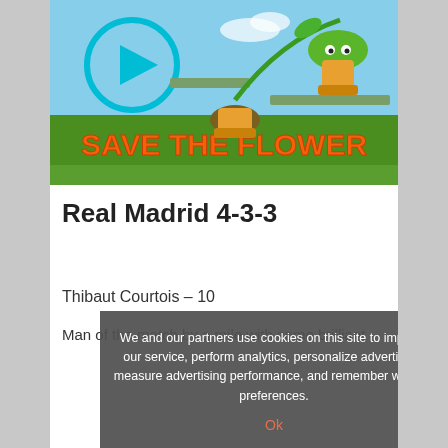[Figure (screenshot): Screenshot of a mobile game called 'Save The Flower' with cartoon plant characters, a play button circle, and orange text reading SAVE THE FLOWER on a green grassy background]
Real Madrid 4-3-3
Thibaut Courtois – 10
Man of the match by a mile with some brilliant
We and our partners use cookies on this site to improve our service, perform analytics, personalize advertising, measure advertising performance, and remember website preferences.